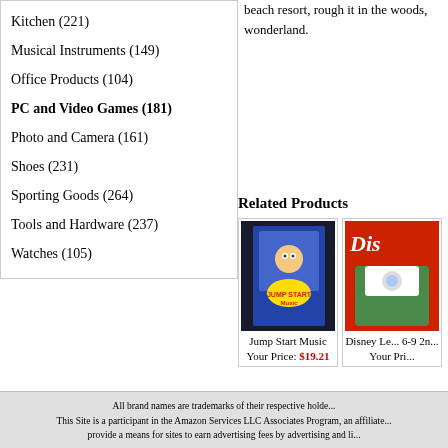Kitchen (221)
Musical Instruments (149)
Office Products (104)
PC and Video Games (181)
Photo and Camera (161)
Shoes (231)
Sporting Goods (264)
Tools and Hardware (237)
Watches (105)
beach resort, rough it in the woods, wonderland.
Related Products
[Figure (photo): Jump Start Music PC game CD case]
Jump Start Music
Your Price: $19.21
[Figure (photo): Disney Le... 6-9 2n... game CD case (partially visible)]
Disney Le... 6-9 2n...
Your Pri...
All brand names are trademarks of their respective holders. This Site is a participant in the Amazon Services LLC Associates Program, an affiliate program designed to provide a means for sites to earn advertising fees by advertising and linking to Amazon.com.